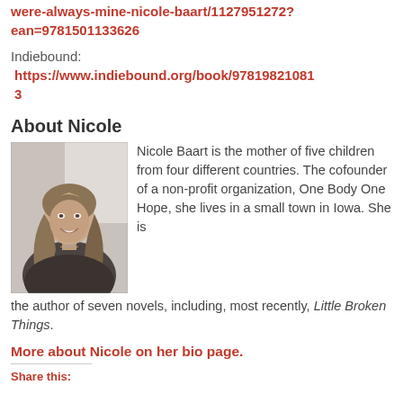were-always-mine-nicole-baart/1127951272?ean=9781501133626
Indiebound:
https://www.indiebound.org/book/9781982108113
About Nicole
[Figure (photo): Black and white photo of Nicole Baart, a woman with long wavy hair, smiling, wearing a dark top.]
Nicole Baart is the mother of five children from four different countries. The cofounder of a non-profit organization, One Body One Hope, she lives in a small town in Iowa. She is the author of seven novels, including, most recently, Little Broken Things.
More about Nicole on her bio page.
Share this: